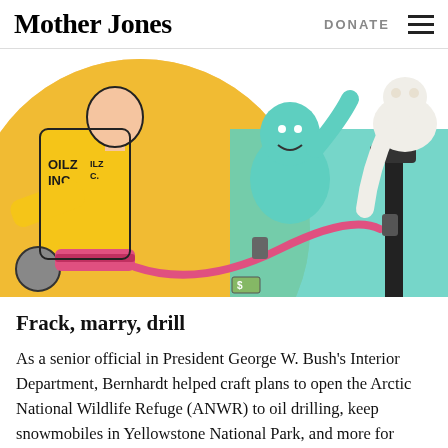Mother Jones   DONATE
[Figure (illustration): Colorful cartoon illustration showing a figure in a yellow 'OILZ INC.' jumpsuit holding a large drill/pipe, alongside a teal monster-like creature holding a pink hose connected to a black pump, with a polar bear on the right side. Dollar sign bill visible on ground.]
Frack, marry, drill
As a senior official in President George W. Bush's Interior Department, Bernhardt helped craft plans to open the Arctic National Wildlife Refuge (ANWR) to oil drilling, keep snowmobiles in Yellowstone National Park, and more for other mountain...